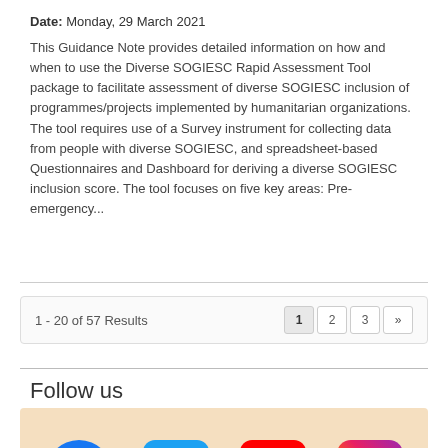Date: Monday, 29 March 2021
This Guidance Note provides detailed information on how and when to use the Diverse SOGIESC Rapid Assessment Tool package to facilitate assessment of diverse SOGIESC inclusion of programmes/projects implemented by humanitarian organizations. The tool requires use of a Survey instrument for collecting data from people with diverse SOGIESC, and spreadsheet-based Questionnaires and Dashboard for deriving a diverse SOGIESC inclusion score. The tool focuses on five key areas: Pre-emergency...
1 - 20 of 57 Results
1  2  3  »
Follow us
[Figure (illustration): Social media icons for Facebook, Twitter, YouTube, and Instagram on a light orange/beige background]